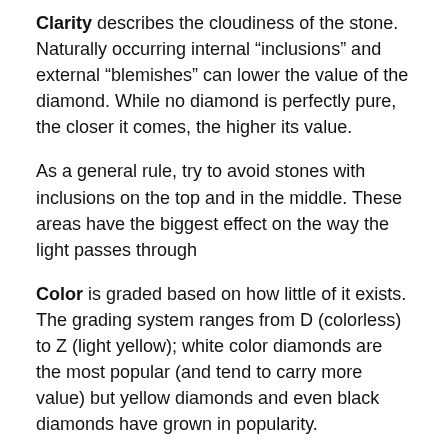Clarity describes the cloudiness of the stone. Naturally occurring internal “inclusions” and external “blemishes” can lower the value of the diamond. While no diamond is perfectly pure, the closer it comes, the higher its value.
As a general rule, try to avoid stones with inclusions on the top and in the middle. These areas have the biggest effect on the way the light passes through
Color is graded based on how little of it exists. The grading system ranges from D (colorless) to Z (light yellow); white color diamonds are the most popular (and tend to carry more value) but yellow diamonds and even black diamonds have grown in popularity.
Carat describes how much a diamond weighs. Diamond price increases with carat weight, because larger